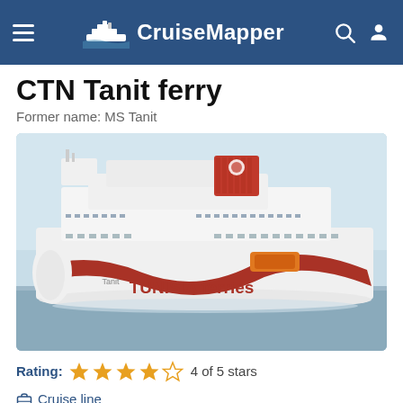CruiseMapper
CTN Tanit ferry
Former name: MS Tanit
[Figure (photo): Large white ferry ship with red decorative wave stripe along the hull and 'TUNISIA ferries' text, large red funnel on top, sailing on calm water.]
Rating: 4 of 5 stars
Cruise line